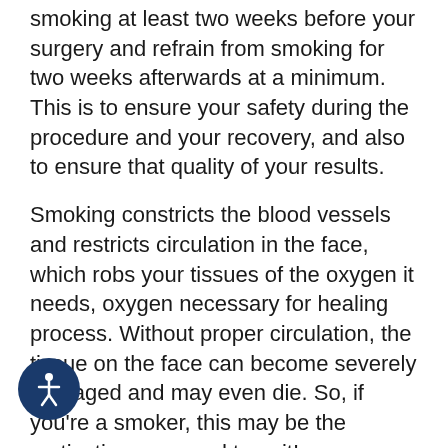smoking at least two weeks before your surgery and refrain from smoking for two weeks afterwards at a minimum. This is to ensure your safety during the procedure and your recovery, and also to ensure that quality of your results.
Smoking constricts the blood vessels and restricts circulation in the face, which robs your tissues of the oxygen it needs, oxygen necessary for healing process. Without proper circulation, the tissue on the face can become severely damaged and may even die. So, if you're a smoker, this may be the motivation you need to quit!
During your initial consultation with Dr. Rich, a thorough examination of your face will be performed in order to accurately diagnose the extent of the issues on your face. Be sure to inform Dr. Rich at your private facelift consultation in her Houston plastic surgery